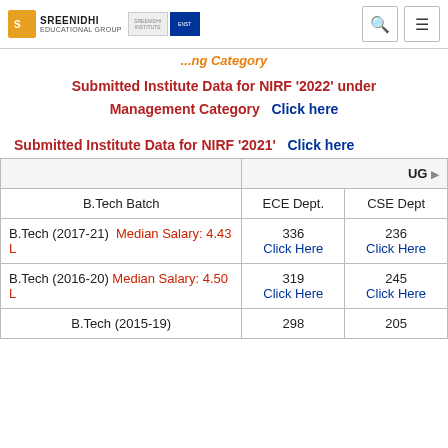Sreenidhi Educational Group
Engineering Category
Submitted Institute Data for NIRF '2022' under Management Category    Click here
Submitted Institute Data for NIRF '2021'    Click here
|  | UG |
| --- | --- |
| B.Tech Batch | ECE Dept. | CSE Dept |
| B.Tech (2017-21)   Median Salary: 4.43 L | 336
Click Here | 236
Click Here |
| B.Tech (2016-20)   Median Salary: 4.50 L | 319
Click Here | 245
Click Here |
| B.Tech (2015-19) | 298 | 205 |